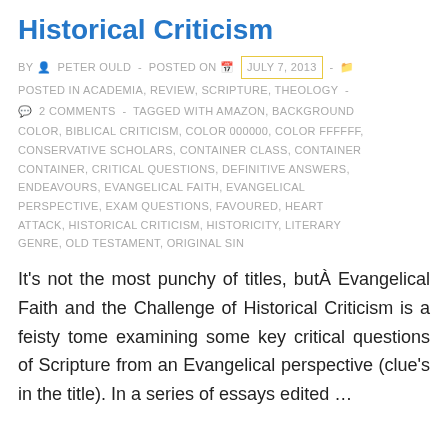Historical Criticism
BY PETER OULD - POSTED ON JULY 7, 2013 - POSTED IN ACADEMIA, REVIEW, SCRIPTURE, THEOLOGY - 2 COMMENTS - TAGGED WITH AMAZON, BACKGROUND COLOR, BIBLICAL CRITICISM, COLOR 000000, COLOR FFFFFF, CONSERVATIVE SCHOLARS, CONTAINER CLASS, CONTAINER CONTAINER, CRITICAL QUESTIONS, DEFINITIVE ANSWERS, ENDEAVOURS, EVANGELICAL FAITH, EVANGELICAL PERSPECTIVE, EXAM QUESTIONS, FAVOURED, HEART ATTACK, HISTORICAL CRITICISM, HISTORICITY, LITERARY GENRE, OLD TESTAMENT, ORIGINAL SIN
It's not the most punchy of titles, butÂ Evangelical Faith and the Challenge of Historical Criticism is a feisty tome examining some key critical questions of Scripture from an Evangelical perspective (clue's in the title). In a series of essays edited …